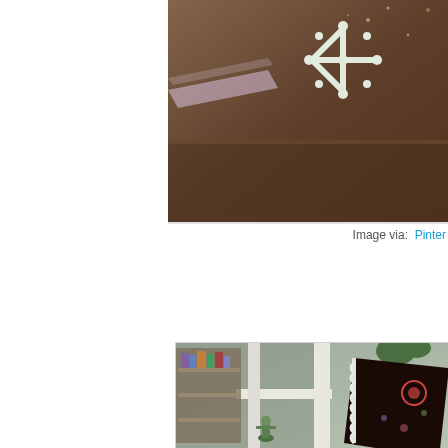[Figure (photo): Close-up photo of a chocolate cake or brownie with white snowflake candy decorations and a sheer ribbon, set against a brown/dark background with sparkle elements.]
Image via:  Pinter
[Figure (photo): Interior room scene showing a window with white frame, a bookshelf visible through or beside the window, green plant and dark decorative pillow with floral embroidery and white lace trim in the foreground.]